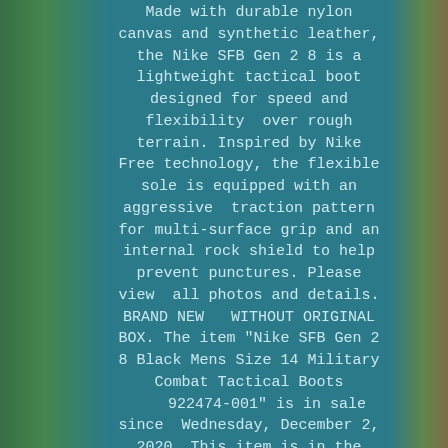Made with durable nylon canvas and synthetic leather, the Nike SFB Gen 2 8 is a lightweight tactical boot designed for speed and flexibility over rough terrain. Inspired by Nike Free technology, the flexible sole is equipped with an aggressive traction pattern for multi-surface grip and an internal rock shield to help prevent punctures. Please view all photos and details. BRAND NEW WITHOUT ORIGINAL BOX. The item "Nike SFB Gen 2 8 Black Mens Size 14 Military Combat Tactical Boots 922474-001" is in sale since Wednesday, December 2, 2020. This item is in the category "Clothing, Shoes & Accessories\Men\Men's Shoes\Athletic Shoes". The seller is "cdg1991" and is located in Greenville, South Carolina. This item can be shipped to United States, Canada, United Kingdom, China, Germany, Japan, France,